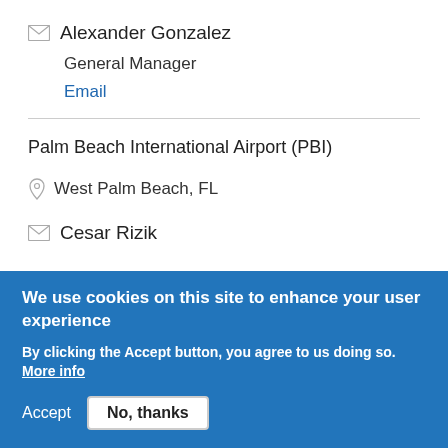Alexander Gonzalez
General Manager
Email
Palm Beach International Airport (PBI)
West Palm Beach, FL
Cesar Rizik
We use cookies on this site to enhance your user experience
By clicking the Accept button, you agree to us doing so. More info
Accept
No, thanks